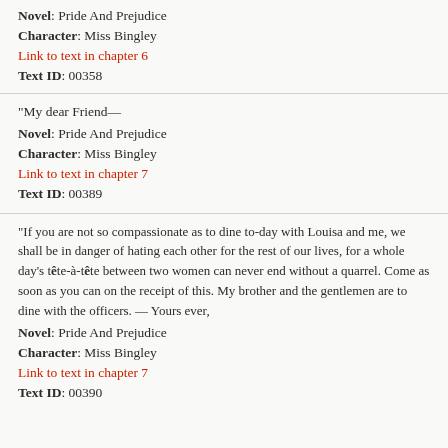Novel: Pride And Prejudice
Character: Miss Bingley
Link to text in chapter 6
Text ID: 00358
"My dear Friend—
Novel: Pride And Prejudice
Character: Miss Bingley
Link to text in chapter 7
Text ID: 00389
"If you are not so compassionate as to dine to-day with Louisa and me, we shall be in danger of hating each other for the rest of our lives, for a whole day's tête-à-tête between two women can never end without a quarrel. Come as soon as you can on the receipt of this. My brother and the gentlemen are to dine with the officers. — Yours ever,
Novel: Pride And Prejudice
Character: Miss Bingley
Link to text in chapter 7
Text ID: 00390